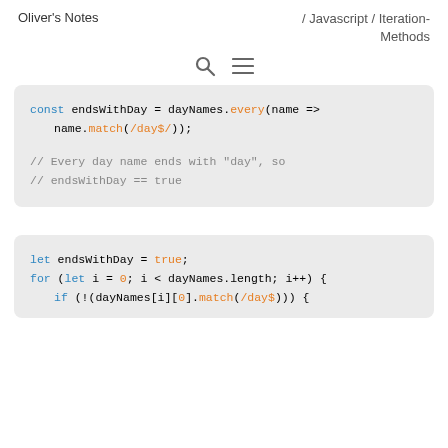Oliver's Notes / Javascript / Iteration-Methods
[Figure (screenshot): Search and menu icons]
const endsWithDay = dayNames.every(name =>
  name.match(/day$/));
// Every day name ends with "day", so
// endsWithDay == true
let endsWithDay = true;
for (let i = 0; i < dayNames.length; i++) {
  if (!(dayNames[i][0].match(/day$))) {